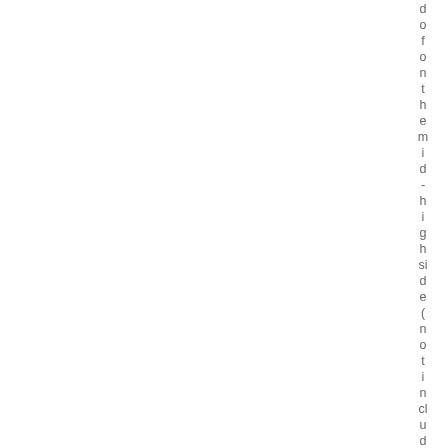[Figure (other): Two-column layout: left white panel and right light blue panel. On the far right edge, vertical text reading 'd o f o n t h e m i d - h i g h s i d e ( n o t i n c l u d i' with remaining text cut off.]
d of on the mid-high side (not includi